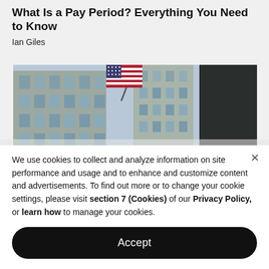What Is a Pay Period? Everything You Need to Know
Ian Giles
[Figure (photo): Street-level photo looking up at tall city buildings with an American flag flying prominently in the center, urban financial district setting]
We use cookies to collect and analyze information on site performance and usage and to enhance and customize content and advertisements. To find out more or to change your cookie settings, please visit section 7 (Cookies) of our Privacy Policy, or learn how to manage your cookies.
Accept